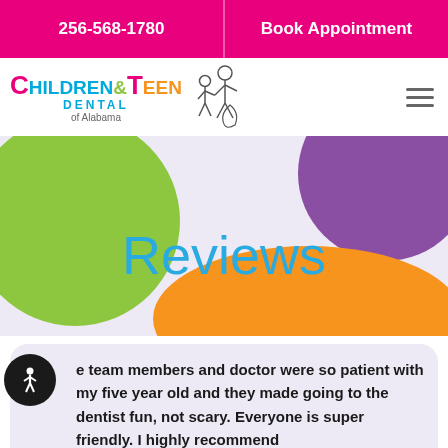256-568-1780 | Book Appointment
[Figure (logo): Children & Teen Dental of Alabama logo with colorful text and stick figures]
Reviews
e team members and doctor were so patient with my five year old and they made going to the dentist fun, not scary. Everyone is super friendly. I highly recommend